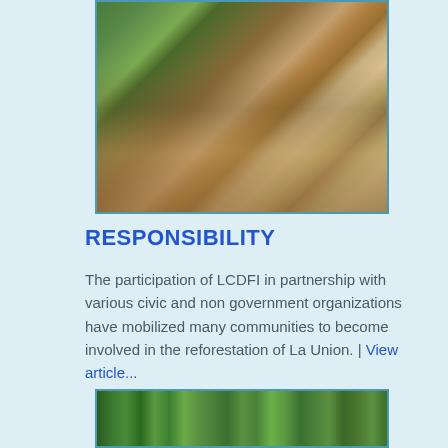[Figure (photo): Group of people crouching around a tree sapling being planted in soil, outdoors with green foliage in background]
RESPONSIBILITY
The participation of LCDFI in partnership with various civic and non government organizations have mobilized many communities to become involved in the reforestation of La Union. | View article...
[Figure (photo): Bottom photo showing green leaves or plant material, partially visible]